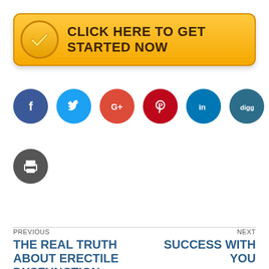[Figure (infographic): Yellow call-to-action button with checkmark icon and text 'CLICK HERE TO GET STARTED NOW']
[Figure (infographic): Row of social media sharing icons: Facebook, Twitter, Google+, Pinterest, LinkedIn, Digg, Email]
[Figure (infographic): Print icon circle button]
PREVIOUS
THE REAL TRUTH ABOUT ERECTILE DYSFUNCTION
NEXT
SUCCESS WITH YOU